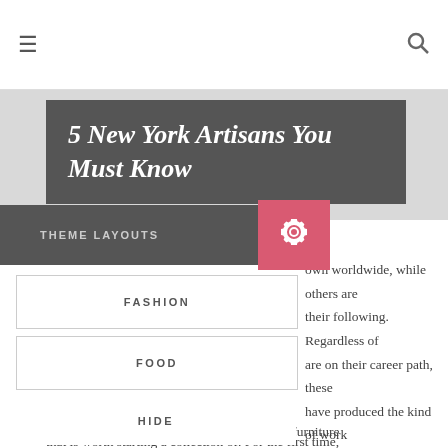≡   🔍
5 New York Artisans You Must Know
THEME LAYOUTS
FASHION
FOOD
HIDE
…own worldwide, while others are their following. Regardless of are on their career path, these have produced the kind of work that is worth starting a collection of. For the first time, we are thrilled to highlight some of our favorite artisans – first stop, Melbourne!
Have you ever come across a dish, a piece of furniture